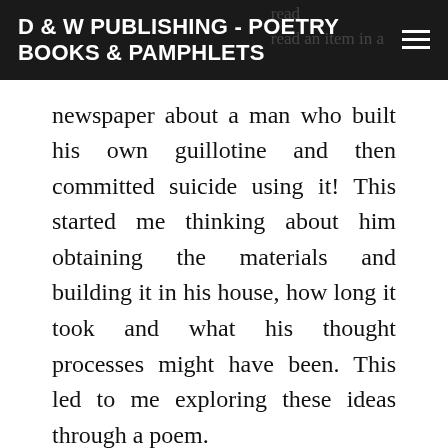D & W PUBLISHING - POETRY BOOKS & PAMPHLETS
newspaper about a man who built his own guillotine and then committed suicide using it! This started me thinking about him obtaining the materials and building it in his house, how long it took and what his thought processes might have been. This led to me exploring these ideas through a poem.
My book Exposure: Snapshot from the of Lee Miller, came about due to my